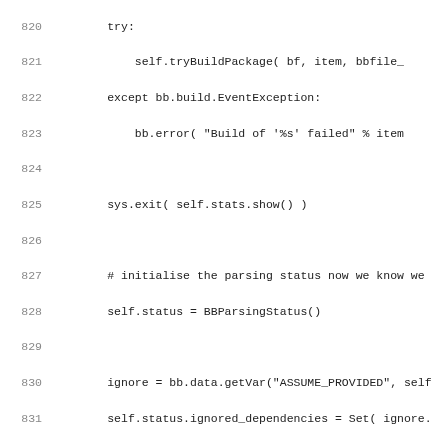Source code listing, lines 820–851, Python code snippet showing package build logic with tryBuildPackage, BBParsingStatus, handleCollections, pkgs_to_build, bbpkgs, and Import Psyco comment.